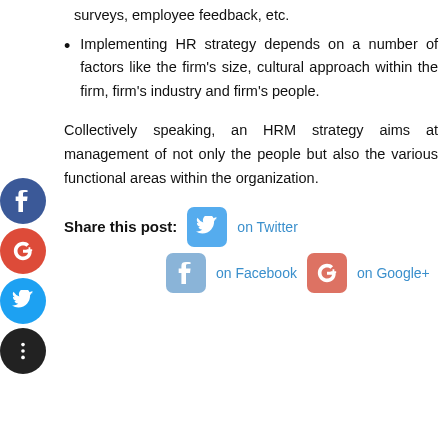surveys, employee feedback, etc.
Implementing HR strategy depends on a number of factors like the firm's size, cultural approach within the firm, firm's industry and firm's people.
Collectively speaking, an HRM strategy aims at management of not only the people but also the various functional areas within the organization.
Share this post:  on Twitter  on Facebook  on Google+